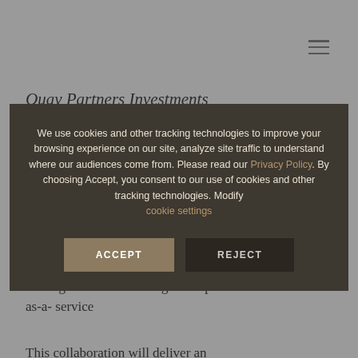Quay Partners Investments
announced that Joe Vittoria and Sarah Donnelly will be joining Quay, a market-leading investment management platform-as-a-service
We use cookies and other tracking technologies to improve your browsing experience on our site, analyze site traffic to understand where our audiences come from. Please read our Privacy Policy. By choosing Accept, you consent to our use of cookies and other tracking technologies. Modify cookie settings
This collaboration will deliver an